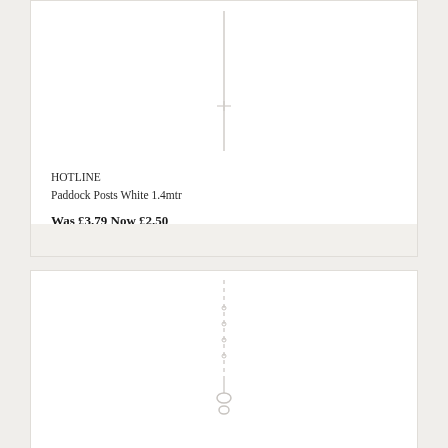[Figure (photo): White plastic paddock post, approximately 1.4 metres tall, shown vertically centred in a white product card area]
HOTLINE
Paddock Posts White 1.4mtr
Was £3.79 Now £2.50
[Figure (photo): White/silver chain or rope with a loop connector at the bottom, shown vertically in a white product card area]